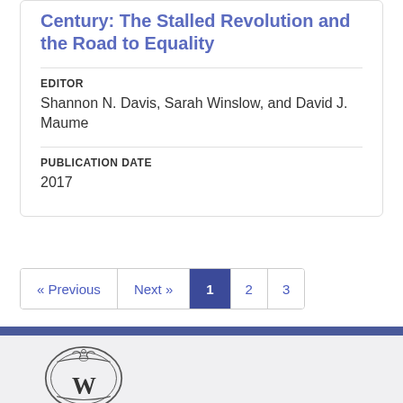Century: The Stalled Revolution and the Road to Equality
EDITOR
Shannon N. Davis, Sarah Winslow, and David J. Maume
PUBLICATION DATE
2017
« Previous  Next »  1  2  3
[Figure (logo): University of Wisconsin 'W' crest logo in outline style on light grey background]